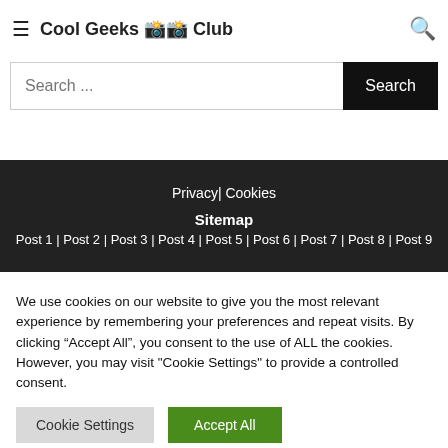Perhaps searching can help
Cool Geeks Club
Search ...
Privacy| Cookies
Sitemap
Post 1 | Post 2 | Post 3 | Post 4 | Post 5 | Post 6 | Post 7 | Post 8 | Post 9
We use cookies on our website to give you the most relevant experience by remembering your preferences and repeat visits. By clicking “Accept All”, you consent to the use of ALL the cookies. However, you may visit "Cookie Settings" to provide a controlled consent.
Cookie Settings
Accept All